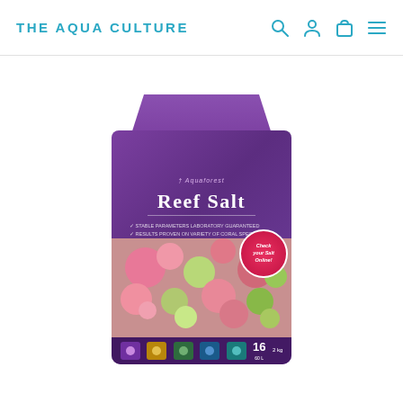THE AQUA CULTURE
[Figure (photo): Product photo of Aquaforest Reef Salt purple bag (2kg / 60L, 16 trace elements) with coral imagery on the lower portion and red circular badge reading Check your Salt Online]